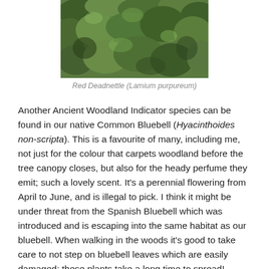[Figure (photo): Close-up photograph of green leafy plants — Red Deadnettle (Lamium purpureum)]
Red Deadnettle (Lamium purpureum)
Another Ancient Woodland Indicator species can be found in our native Common Bluebell (Hyacinthoides non-scripta). This is a favourite of many, including me, not just for the colour that carpets woodland before the tree canopy closes, but also for the heady perfume they emit; such a lovely scent. It's a perennial flowering from April to June, and is illegal to pick. I think it might be under threat from the Spanish Bluebell which was introduced and is escaping into the same habitat as our bluebell. When walking in the woods it's good to take care to not step on bluebell leaves which are easily damaged; these plants take a long time to spread! Usage wise I think you can make glue from the sap and mushed up bulbs, but it really doesn't seem like a good idea. They are also poisonous to